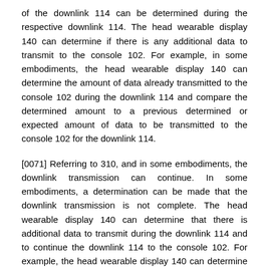of the downlink 114 can be determined during the respective downlink 114. The head wearable display 140 can determine if there is any additional data to transmit to the console 102. For example, in some embodiments, the head wearable display 140 can determine the amount of data already transmitted to the console 102 during the downlink 114 and compare the determined amount to a previous determined or expected amount of data to be transmitted to the console 102 for the downlink 114.
[0071] Referring to 310, and in some embodiments, the downlink transmission can continue. In some embodiments, a determination can be made that the downlink transmission is not complete. The head wearable display 140 can determine that there is additional data to transmit during the downlink 114 and to continue the downlink 114 to the console 102. For example, the head wearable display 140 can determine that there is additional data to transmit for the first downlink transmission 114 and responsive to the determination,